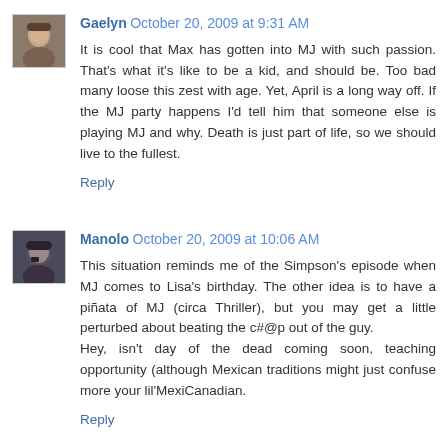Gaelyn  October 20, 2009 at 9:31 AM
It is cool that Max has gotten into MJ with such passion. That's what it's like to be a kid, and should be. Too bad many loose this zest with age. Yet, April is a long way off. If the MJ party happens I'd tell him that someone else is playing MJ and why. Death is just part of life, so we should live to the fullest.
Reply
Manolo  October 20, 2009 at 10:06 AM
This situation reminds me of the Simpson's episode when MJ comes to Lisa's birthday. The other idea is to have a piñata of MJ (circa Thriller), but you may get a little perturbed about beating the c#@p out of the guy.
Hey, isn't day of the dead coming soon, teaching opportunity (although Mexican traditions might just confuse more your lil'MexiCanadian.
Reply